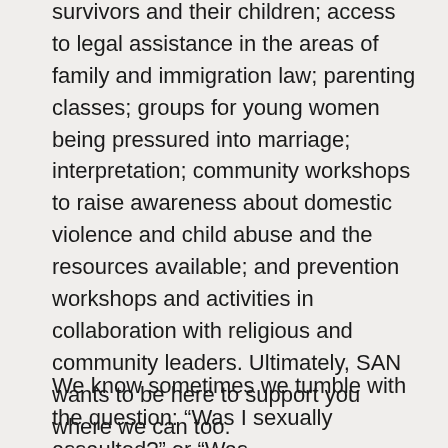survivors and their children; access to legal assistance in the areas of family and immigration law; parenting classes; groups for young women being pressured into marriage; interpretation; community workshops to raise awareness about domestic violence and child abuse and the resources available; and prevention workshops and activities in collaboration with religious and community leaders. Ultimately, SAN wants to be here to support you where we can too.
We know sometimes we tumble with the question: “Was I sexually assaulted?” or “Was